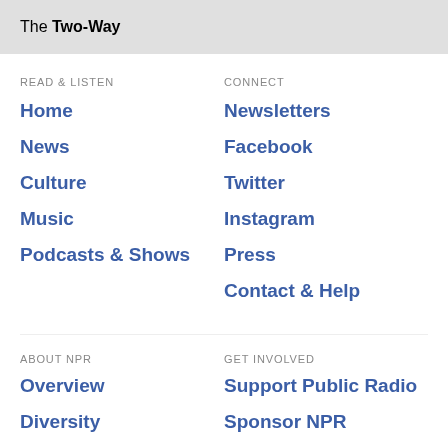The Two-Way
READ & LISTEN
Home
News
Culture
Music
Podcasts & Shows
CONNECT
Newsletters
Facebook
Twitter
Instagram
Press
Contact & Help
ABOUT NPR
Overview
Diversity
GET INVOLVED
Support Public Radio
Sponsor NPR